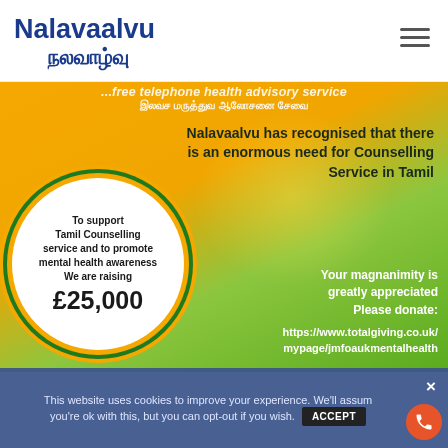Nalavaalvu நலவாழ்வு
[Figure (infographic): Fundraising infographic for Nalavaalvu Tamil Counselling Service. Orange and green gradient background. White circular badge on left showing fundraising target of £25,000 to support Tamil Counselling service and mental health awareness. Right side text states 'Nalavaalvu has recognised that there is an enormous need for Counselling Service in Tamil'. Bottom right shows donation URL and appreciation message. Partial text at top: free telephone health advisory service in Tamil.]
This website uses cookies to improve your experience. We'll assum you're ok with this, but you can opt-out if you wish. ACCEPT